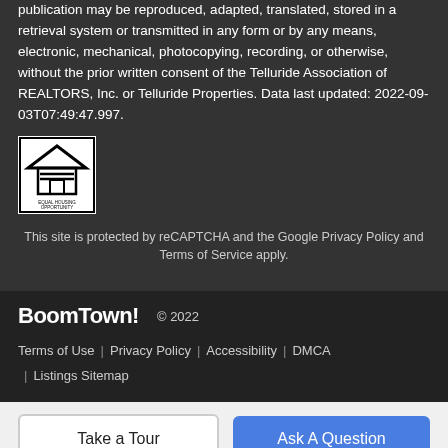publication may be reproduced, adapted, translated, stored in a retrieval system or transmitted in any form or by any means, electronic, mechanical, photocopying, recording, or otherwise, without the prior written consent of the Telluride Association of REALTORS, Inc. or Telluride Properties. Data last updated: 2022-09-03T07:49:47.997.
[Figure (logo): Equal Housing Opportunity logo — house icon with equal sign, black and white]
This site is protected by reCAPTCHA and the Google Privacy Policy and Terms of Service apply.
BoomTown! © 2022 | Terms of Use | Privacy Policy | Accessibility | DMCA | Listings Sitemap
Take a Tour    Ask A Question